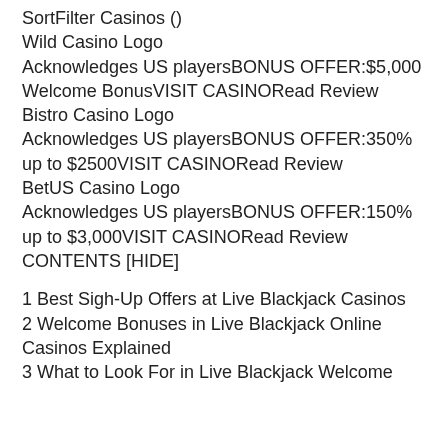SortFilter Casinos ()
Wild Casino Logo
Acknowledges US playersBONUS OFFER:$5,000 Welcome BonusVISIT CASINORead Review
Bistro Casino Logo
Acknowledges US playersBONUS OFFER:350% up to $2500VISIT CASINORead Review
BetUS Casino Logo
Acknowledges US playersBONUS OFFER:150% up to $3,000VISIT CASINORead Review
CONTENTS [HIDE]
1 Best Sigh-Up Offers at Live Blackjack Casinos
2 Welcome Bonuses in Live Blackjack Online Casinos Explained
3 What to Look For in Live Blackjack Welcome